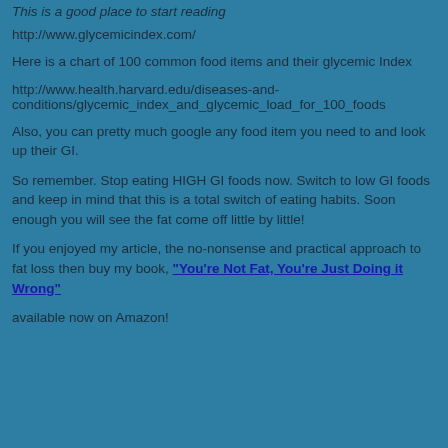This is a good place to start reading
http://www.glycemicindex.com/
Here is a chart of 100 common food items and their glycemic Index
http://www.health.harvard.edu/diseases-and-conditions/glycemic_index_and_glycemic_load_for_100_foods
Also, you can pretty much google any food item you need to and look up their GI.
So remember. Stop eating HIGH GI foods now. Switch to low GI foods and keep in mind that this is a total switch of eating habits. Soon enough you will see the fat come off little by little!
If you enjoyed my article, the no-nonsense and practical approach to fat loss then buy my book, "You're Not Fat, You're Just Doing it Wrong"
available now on Amazon!